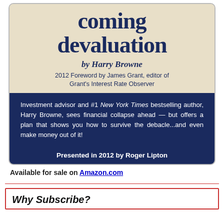[Figure (photo): Book cover of 'coming devaluation' by Harry Browne, with 2012 Foreword by James Grant, editor of Grant's Interest Rate Observer. A dark navy blue panel reads: 'Investment advisor and #1 New York Times bestselling author, Harry Browne, sees financial collapse ahead — but offers a plan that shows you how to survive the debacle...and even make money out of it! Presented in 2012 by Roger Lipton']
Available for sale on Amazon.com
Why Subscribe?